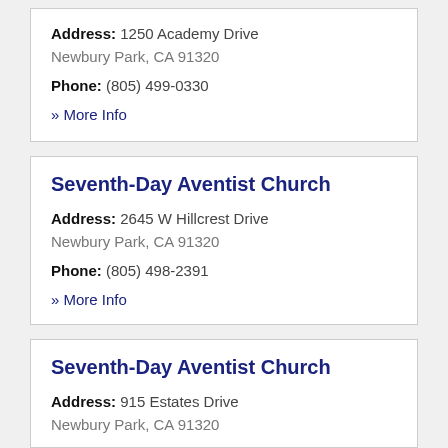Address: 1250 Academy Drive Newbury Park, CA 91320
Phone: (805) 499-0330
» More Info
Seventh-Day Aventist Church
Address: 2645 W Hillcrest Drive Newbury Park, CA 91320
Phone: (805) 498-2391
» More Info
Seventh-Day Aventist Church
Address: 915 Estates Drive Newbury Park, CA 91320